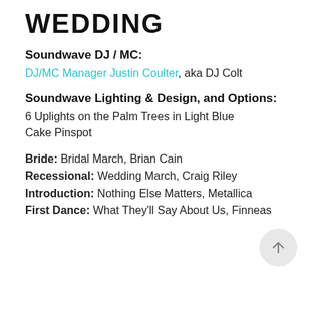WEDDING
Soundwave DJ / MC:
DJ/MC Manager Justin Coulter, aka DJ Colt
Soundwave Lighting & Design, and Options:
6 Uplights on the Palm Trees in Light Blue
Cake Pinspot
Bride:  Bridal March, Brian Cain
Recessional:  Wedding March, Craig Riley
Introduction:  Nothing Else Matters, Metallica
First Dance:  What They'll Say About Us, Finneas